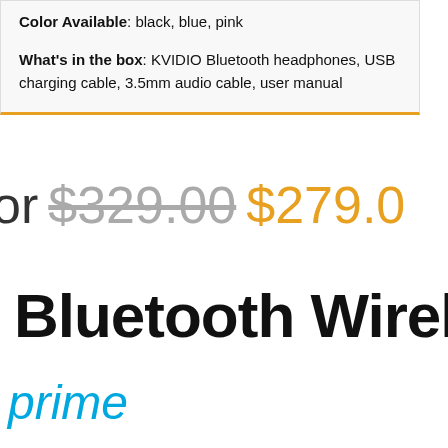Color Available: black, blue, pink
What's in the box: KVIDIO Bluetooth headphones, USB charging cable, 3.5mm audio cable, user manual
or $329.00 $279.00
Bluetooth Wireless
prime